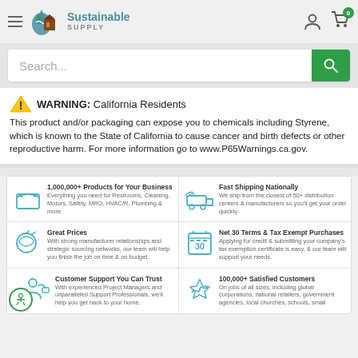[Figure (logo): Sustainable Supply logo with blue/green water drop and brown house icon, teal and gray text]
Search...
⚠ WARNING: California Residents
This product and/or packaging can expose you to chemicals including Styrene, which is known to the State of California to cause cancer and birth defects or other reproductive harm. For more information go to www.P65Warnings.ca.gov.
[Figure (infographic): 1,000,000+ Products for Your Business - box icon with text about Restrooms, Cleaning, Motors, Safety, MRO, HVAC/R, Plumbing & more.]
[Figure (infographic): Fast Shipping Nationally - truck icon with text about shipping from closest of 50+ distribution centers & manufacturers]
[Figure (infographic): Great Prices - price tag icon with text about strong manufacturer relationships and strategic sourcing networks]
[Figure (infographic): Net 30 Terms & Tax Exempt Purchases - calendar 30 icon with text about applying for credit & submitting tax exemption certificate]
[Figure (infographic): Customer Support You Can Trust - person icon with text about experienced Project Managers and unparalleled Support Professionals]
[Figure (infographic): 100,000+ Satisfied Customers - thumbs up icon with text about global corporations, national retailers, government agencies, local churches, schools, small]